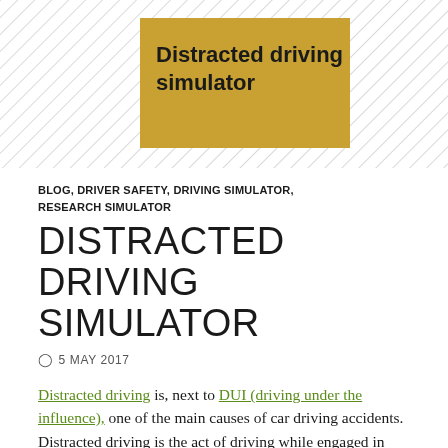[Figure (illustration): Header banner with diagonal hatching background pattern and a gold/yellow box containing bold text 'Distracted driving simulator']
BLOG, DRIVER SAFETY, DRIVING SIMULATOR, RESEARCH SIMULATOR
DISTRACTED DRIVING SIMULATOR
5 MAY 2017
Distracted driving is, next to DUI (driving under the influence), one of the main causes of car driving accidents. Distracted driving is the act of driving while engaged in other activities—such as looking after children, texting, talking on the phone